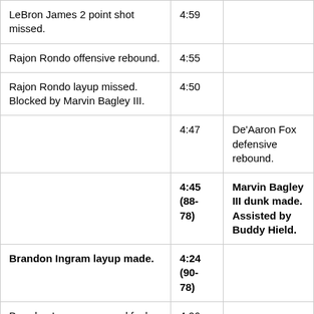| Play | Time | Play |
| --- | --- | --- |
| LeBron James 2 point shot missed. | 4:59 |  |
| Rajon Rondo offensive rebound. | 4:55 |  |
| Rajon Rondo layup missed. Blocked by Marvin Bagley III. | 4:50 |  |
|  | 4:47 | De'Aaron Fox defensive rebound. |
|  | 4:45 (88-78) | Marvin Bagley III dunk made. Assisted by Buddy Hield. |
| Brandon Ingram layup made. | 4:24 (90-78) |  |
| Brandon Ingram personal foul. | 4:06 |  |
|  | 3:58 | De'Aaron Fox 2 point shot missed. |